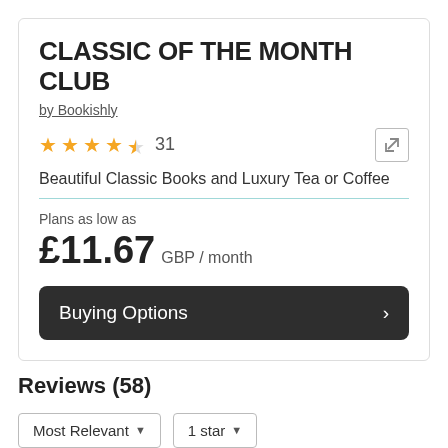CLASSIC OF THE MONTH CLUB
by Bookishly
★★★★½ 31
Beautiful Classic Books and Luxury Tea or Coffee
Plans as low as
£11.67 GBP / month
Buying Options
Reviews (58)
Most Relevant ▼   1 star ▼
4.5 Average Subscriber Rating